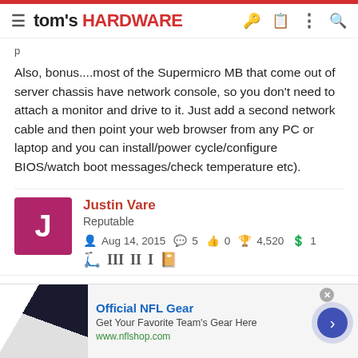tom's HARDWARE
Also, bonus....most of the Supermicro MB that come out of server chassis have network console, so you don't need to attach a monitor and drive to it. Just add a second network cable and then point your web browser from any PC or laptop and you can install/power cycle/configure BIOS/watch boot messages/check temperature etc).
Justin Vare
Reputable
Aug 14, 2015  5  0  4,520  1
Aug 14, 2015  #17
[Figure (screenshot): NFL advertisement banner: Official NFL Gear - Get Your Favorite Team's Gear Here - www.nflshop.com]